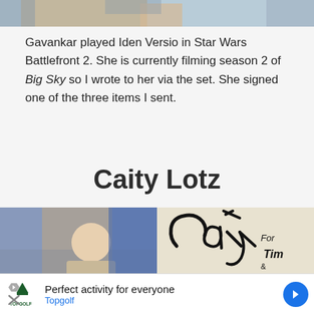[Figure (photo): Top portion of a photo, partially visible — appears to show a person with a blue background]
Gavankar played Iden Versio in Star Wars Battlefront 2. She is currently filming season 2 of Big Sky so I wrote to her via the set. She signed one of the three items I sent.
Caity Lotz
[Figure (photo): Photo of Caity Lotz in costume with a signature on it]
[Figure (photo): Close-up of Caity Lotz signature on light background, inscribed 'For Tim & Emma']
[Figure (other): Advertisement: Topgolf — Perfect activity for everyone]